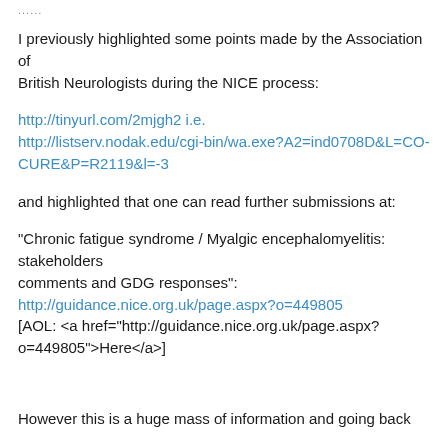......
I previously highlighted some points made by the Association of
British Neurologists during the NICE process:
http://tinyurl.com/2mjgh2 i.e.
http://listserv.nodak.edu/cgi-bin/wa.exe?A2=ind0708D&L=CO-CURE&P=R2119&l=-3
and highlighted that one can read further submissions at:
"Chronic fatigue syndrome / Myalgic encephalomyelitis: stakeholders
comments and GDG responses":
http://guidance.nice.org.uk/page.aspx?o=449805
[AOL: <a href="http://guidance.nice.org.uk/page.aspx?o=449805">Here</a>]
However this is a huge mass of information and going back